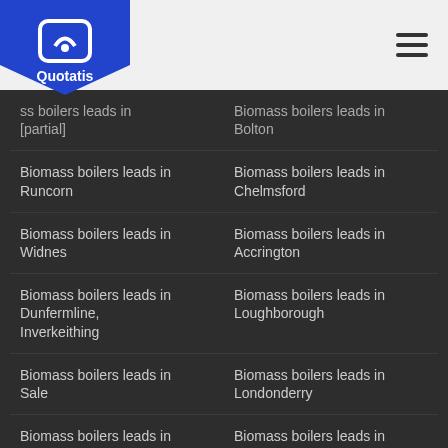Quotatis
Biomass boilers leads in [partial]
Biomass boilers leads in Bolton
Biomass boilers leads in Runcorn
Biomass boilers leads in Chelmsford
Biomass boilers leads in Widnes
Biomass boilers leads in Accrington
Biomass boilers leads in Dunfermline, Inverkeithing
Biomass boilers leads in Loughborough
Biomass boilers leads in Sale
Biomass boilers leads in Londonderry
Biomass boilers leads in Newry (South Down section)
Biomass boilers leads in Coalville, Ibstock, Markfield
Biomass boilers leads in Cheadle
Biomass boilers leads in Mitcham
Biomass boilers leads in Tamworth
Biomass boilers leads in Bromley
Biomass boilers leads in [partial]
Biomass boilers leads in [partial]